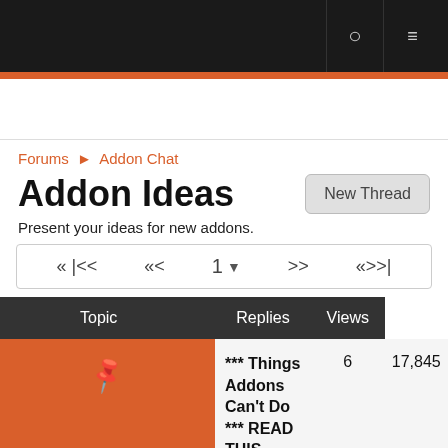Forums ► Addon Chat
Addon Ideas
Present your ideas for new addons.
| Topic | Replies | Views |
| --- | --- | --- |
| *** Things Addons Can't Do *** READ THIS BEFORE POSTING HERE *** by phanxaddons Aug 22, 2010 | 6 | 17,845 |